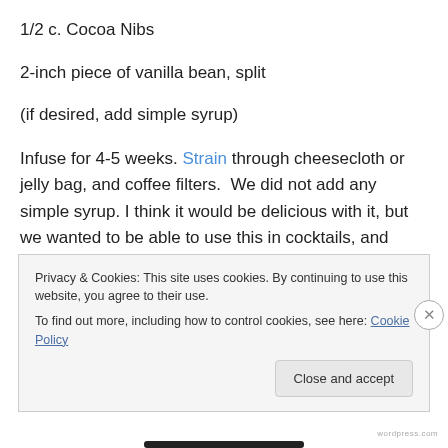1/2 c. Cocoa Nibs
2-inch piece of vanilla bean, split
(if desired, add simple syrup)
Infuse for 4-5 weeks. Strain through cheesecloth or jelly bag, and coffee filters.  We did not add any simple syrup. I think it would be delicious with it, but we wanted to be able to use this in cocktails, and thought it would be more versatile this way.
Privacy & Cookies: This site uses cookies. By continuing to use this website, you agree to their use.
To find out more, including how to control cookies, see here: Cookie Policy